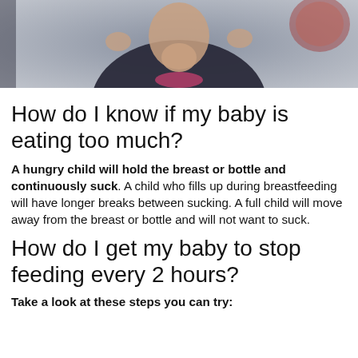[Figure (photo): A person in a dark blue top with hands raised, speaking or demonstrating something, visible from shoulders up. Background is blurred.]
How do I know if my baby is eating too much?
A hungry child will hold the breast or bottle and continuously suck. A child who fills up during breastfeeding will have longer breaks between sucking. A full child will move away from the breast or bottle and will not want to suck.
How do I get my baby to stop feeding every 2 hours?
Take a look at these steps you can try: